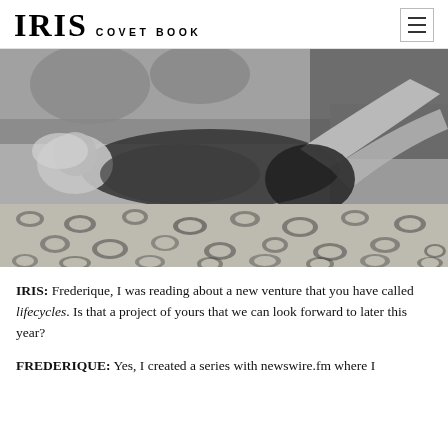IRIS COVET BOOK
[Figure (photo): Black and white fashion photograph of a woman (Frederique) reclining on a velvet sofa wearing a leopard-print coat and high heels, with a leopard-print rug on the floor below.]
IRIS: Frederique, I was reading about a new venture that you have called lifecycles. Is that a project of yours that we can look forward to later this year?
FREDERIQUE: Yes, I created a series with newswire.fm where I